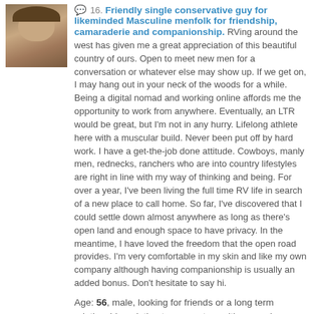[Figure (photo): Profile photo of a man wearing a cowboy hat, muscular build, outdoor setting]
16. Friendly single conservative guy for likeminded Masculine menfolk for friendship, camaraderie and companionship. RVing around the west has given me a great appreciation of this beautiful country of ours. Open to meet new men for a conversation or whatever else may show up. If we get on, I may hang out in your neck of the woods for a while. Being a digital nomad and working online affords me the opportunity to work from anywhere. Eventually, an LTR would be great, but I'm not in any hurry. Lifelong athlete here with a muscular build. Never been put off by hard work. I have a get-the-job done attitude. Cowboys, manly men, rednecks, ranchers who are into country lifestyles are right in line with my way of thinking and being. For over a year, I've been living the full time RV life in search of a new place to call home. So far, I've discovered that I could settle down almost anywhere as long as there's open land and enough space to have privacy. In the meantime, I have loved the freedom that the open road provides. I'm very comfortable in my skin and like my own company although having companionship is usually an added bonus. Don't hesitate to say hi.
Age: 56, male, looking for friends or a long term relationship or intimate encounters with a man in Spearfish, South Dakota, USA
10 photos, 8 public   send message
[Figure (photo): Partial profile photo of second listing, person wearing light colored clothing]
17. Well let me start off saying I am a born and raised Albertan. I am just your average ginger guy. I am some...